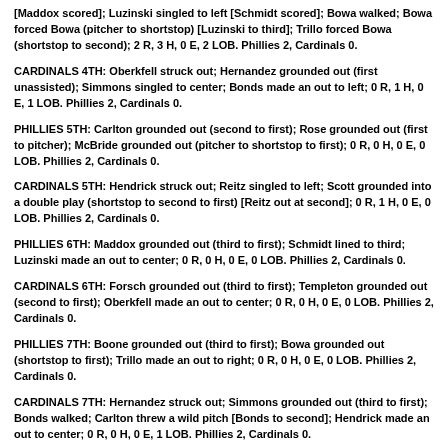[Maddox scored]; Luzinski singled to left [Schmidt scored]; Bowa walked; Bowa forced Bowa (pitcher to shortstop) [Luzinski to third]; Trillo forced Bowa (shortstop to second); 2 R, 3 H, 0 E, 2 LOB. Phillies 2, Cardinals 0.
CARDINALS 4TH: Oberkfell struck out; Hernandez grounded out (first unassisted); Simmons singled to center; Bonds made an out to left; 0 R, 1 H, 0 E, 1 LOB. Phillies 2, Cardinals 0.
PHILLIES 5TH: Carlton grounded out (second to first); Rose grounded out (first to pitcher); McBride grounded out (pitcher to shortstop to first); 0 R, 0 H, 0 E, 0 LOB. Phillies 2, Cardinals 0.
CARDINALS 5TH: Hendrick struck out; Reitz singled to left; Scott grounded into a double play (shortstop to second to first) [Reitz out at second]; 0 R, 1 H, 0 E, 0 LOB. Phillies 2, Cardinals 0.
PHILLIES 6TH: Maddox grounded out (third to first); Schmidt lined to third; Luzinski made an out to center; 0 R, 0 H, 0 E, 0 LOB. Phillies 2, Cardinals 0.
CARDINALS 6TH: Forsch grounded out (third to first); Templeton grounded out (second to first); Oberkfell made an out to center; 0 R, 0 H, 0 E, 0 LOB. Phillies 2, Cardinals 0.
PHILLIES 7TH: Boone grounded out (third to first); Bowa grounded out (shortstop to first); Trillo made an out to right; 0 R, 0 H, 0 E, 0 LOB. Phillies 2, Cardinals 0.
CARDINALS 7TH: Hernandez struck out; Simmons grounded out (third to first); Bonds walked; Carlton threw a wild pitch [Bonds to second]; Hendrick made an out to center; 0 R, 0 H, 0 E, 1 LOB. Phillies 2, Cardinals 0.